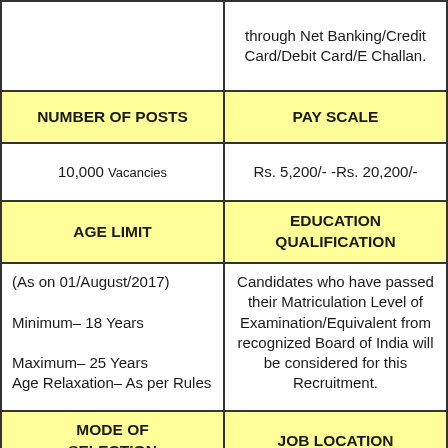| NUMBER OF POSTS | PAY SCALE |
| --- | --- |
|  | through Net Banking/Credit Card/Debit Card/E Challan. |
| NUMBER OF POSTS | PAY SCALE |
| 10,000 Vacancies | Rs. 5,200/- -Rs. 20,200/- |
| AGE LIMIT | EDUCATION QUALIFICATION |
| (As on 01/August/2017)

Minimum– 18 Years

Maximum– 25 Years
Age Relaxation– As per Rules | Candidates who have passed their Matriculation Level of Examination/Equivalent from recognized Board of India will be considered for this Recruitment. |
| MODE OF SELECTION | JOB LOCATION |
| Online Examination | All India |